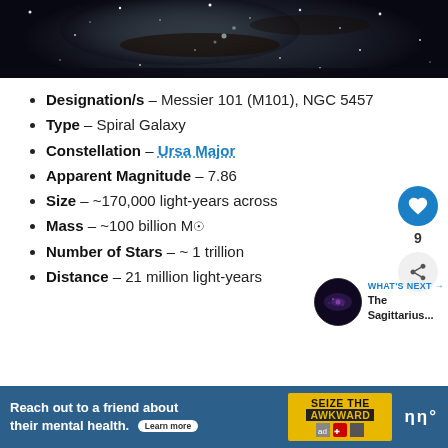[Figure (photo): Space/galaxy photograph showing stars and nebulae against a dark background, cropped at the top of the page.]
Designation/s – Messier 101 (M101), NGC 5457
Type – Spiral Galaxy
Constellation – Ursa Major
Apparent Magnitude – 7.86
Size – ~170,000 light-years across
Mass – ~100 billion M☉
Number of Stars – ~ 1 trillion
Distance – 21 million light-years
[Figure (other): WHAT'S NEXT thumbnail with circular dark galaxy image and text 'The Sagittarius...']
[Figure (other): Advertisement banner: 'Reach out to a friend about their mental health. Learn more' with SEIZE THE AWKWARD branding]